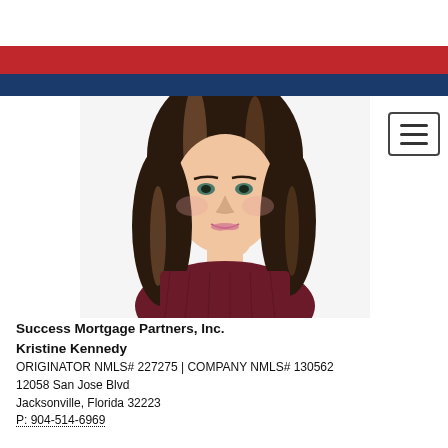[Figure (photo): Decorative red horizontal bar header stripe]
[Figure (photo): Decorative blue horizontal bar header stripe]
[Figure (photo): Portrait photo of a young woman with long wavy brown and blonde highlighted hair, wearing a dark maroon/burgundy lace top, resting chin on hand, smiling, white background]
Success Mortgage Partners, Inc.
Kristine Kennedy
ORIGINATOR NMLS# 227275 | COMPANY NMLS# 130562
12058 San Jose Blvd
Jacksonville, Florida 32223
P: 904-514-6969